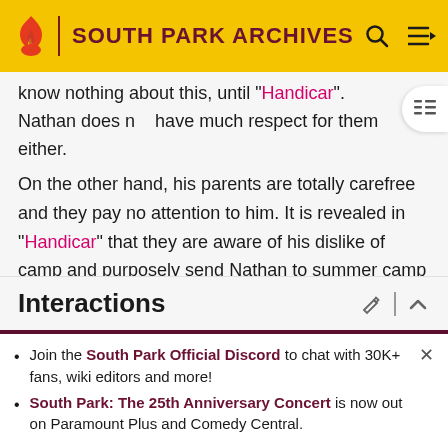SOUTH PARK ARCHIVES
know nothing about this, until "Handicar". Nathan does not have much respect for them either.
On the other hand, his parents are totally carefree and they pay no attention to him. It is revealed in "Handicar" that they are aware of his dislike of camp and purposely send Nathan to summer camp just to ensure their own trip to Italy.
Interactions
Join the South Park Official Discord to chat with 30K+ fans, wiki editors and more!
South Park: The 25th Anniversary Concert is now out on Paramount Plus and Comedy Central.